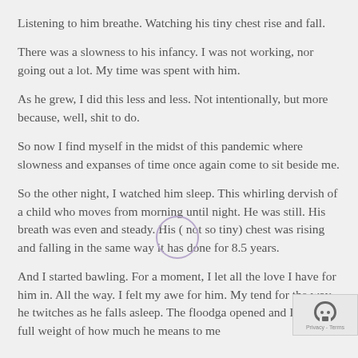Listening to him breathe.  Watching his tiny chest rise and fall.
There was a slowness to his infancy.  I was not working, nor going out a lot.  My time was spent with him.
As he grew, I did this less and less.  Not intentionally, but more because, well, shit to do.
So now I find myself in the midst of this pandemic where slowness and expanses of time once again come to sit beside me.
So the other night, I watched him sleep.  This whirling dervish of a child who moves from morning until night.  He was still.  His breath was even and steady.  His ( not so tiny) chest was rising and falling in the same way it has done for 8.5 years.
And I started bawling.  For a moment, I let all the love I have for him in.  All the way.  I felt my awe for him.  My tend for the way he twitches as he falls asleep.  The floodga opened and I let the full weight of how much he means to me